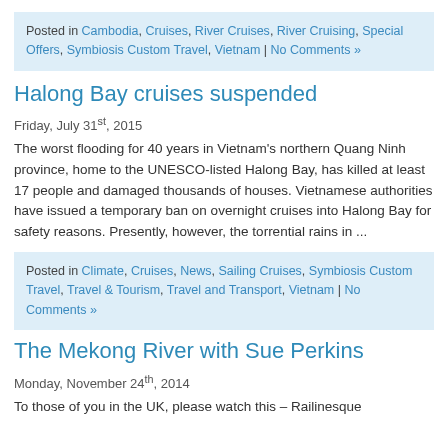Posted in Cambodia, Cruises, River Cruises, River Cruising, Special Offers, Symbiosis Custom Travel, Vietnam | No Comments »
Halong Bay cruises suspended
Friday, July 31st, 2015
The worst flooding for 40 years in Vietnam's northern Quang Ninh province, home to the UNESCO-listed Halong Bay, has killed at least 17 people and damaged thousands of houses. Vietnamese authorities have issued a temporary ban on overnight cruises into Halong Bay for safety reasons. Presently, however, the torrential rains in ...
Posted in Climate, Cruises, News, Sailing Cruises, Symbiosis Custom Travel, Travel & Tourism, Travel and Transport, Vietnam | No Comments »
The Mekong River with Sue Perkins
Monday, November 24th, 2014
To those of you in the UK, please watch this – Railinesque